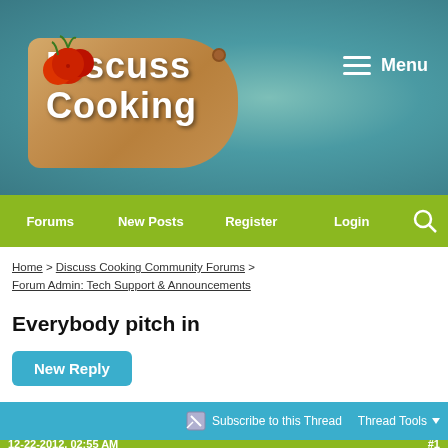[Figure (screenshot): Discuss Cooking website header banner with teal/blue-green background, cutting board logo with tomatoes, and hamburger menu with 'Menu' label]
Forums | New Posts | Register | Login | Search
Home > Discuss Cooking Community Forums > Forum Admin: Tech Support & Announcements
Everybody pitch in
New Reply
Subscribe to this Thread   Thread Tools
12-22-2012, 02:55 AM   #1
Chief Longwind Of The North   Join Date: Aug 2004   Location: USA,Michigan   Posts: 12,346
Everybody pitch in